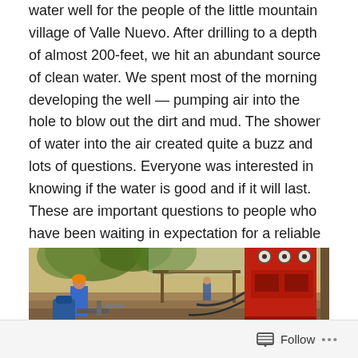water well for the people of the little mountain village of Valle Nuevo. After drilling to a depth of almost 200-feet, we hit an abundant source of clean water. We spent most of the morning developing the well — pumping air into the hole to blow out the dirt and mud. The shower of water into the air created quite a buzz and lots of questions. Everyone was interested in knowing if the water is good and if it will last. These are important questions to people who have been waiting in expectation for a reliable source of water.
[Figure (photo): Outdoor scene showing workers at a well drilling site. A man in an orange hard hat and blue shirt works in the foreground near equipment. In the background there is a shelter/shade structure with trees. On the right side is a large red drilling machine with gauges and hoses.]
Follow